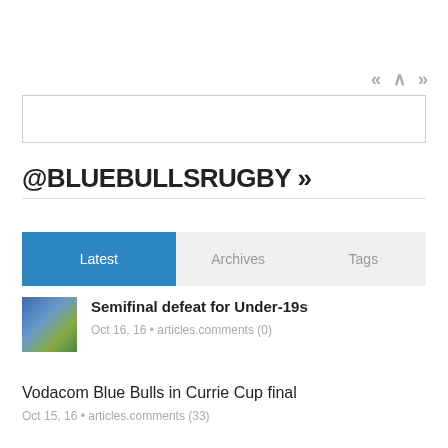[Figure (other): Navigation arrows: double left chevron, up chevron, double right chevron in grey]
[Figure (other): Search input box, empty, with border]
@BLUEBULLSRUGBY »
[Figure (other): Tab bar with Latest (blue active), Archives, Tags]
[Figure (photo): Rugby match action photo thumbnail]
Semifinal defeat for Under-19s
Oct 16, 16 • articles.comments (0)
Vodacom Blue Bulls in Currie Cup final
Oct 15, 16 • articles.comments (33)